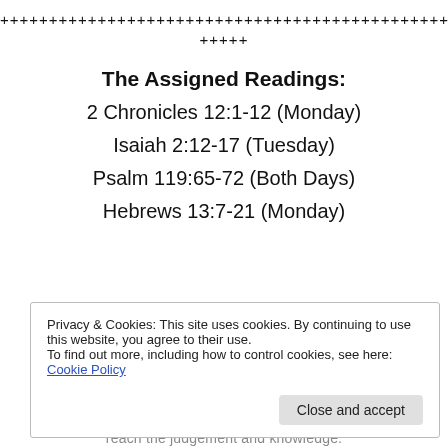++++++++++++++++++++++++++++++++++++++++++++++++++
+++++
The Assigned Readings:
2 Chronicles 12:1-12 (Monday)
Isaiah 2:12-17 (Tuesday)
Psalm 119:65-72 (Both Days)
Hebrews 13:7-21 (Monday)
Privacy & Cookies: This site uses cookies. By continuing to use this website, you agree to their use.
To find out more, including how to control cookies, see here: Cookie Policy
reach the judgement and knowledge.